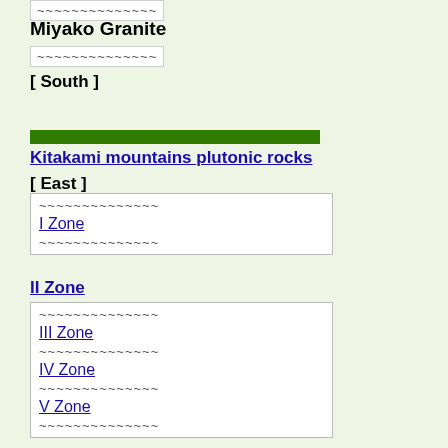~~~~~~~~~~~~~~
Miyako Granite
~~~~~~~~~~~~~~
[ South ]
[Figure (other): Green horizontal bar separator]
Kitakami mountains plutonic rocks
[ East ]
~~~~~~~~~~~~~~
I Zone
~~~~~~~~~~~~~~
II Zone
~~~~~~~~~~~~~~
III Zone
~~~~~~~~~~~~~~
IV Zone
~~~~~~~~~~~~~~
V Zone
~~~~~~~~~~~~~~